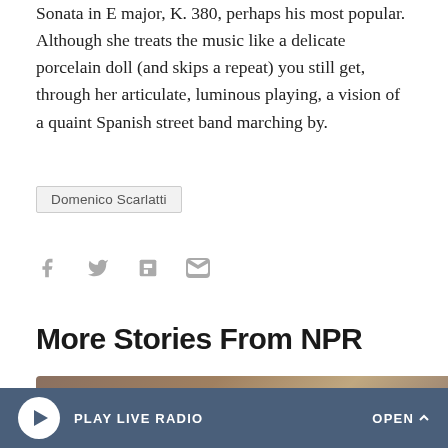Sonata in E major, K. 380, perhaps his most popular. Although she treats the music like a delicate porcelain doll (and skips a repeat) you still get, through her articulate, luminous playing, a vision of a quaint Spanish street band marching by.
Domenico Scarlatti
[Figure (other): Social sharing icons: Facebook, Twitter, Flipboard, Email]
More Stories From NPR
[Figure (photo): Partial news story thumbnail image, bottom strip]
PLAY LIVE RADIO   OPEN